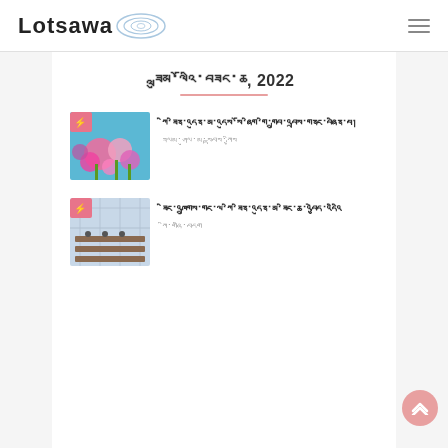Lotsawa
ཟླུམ་ལོའི་བཟང་ཆ, 2022
[Figure (photo): Colorful cosmos flowers against blue sky with pink badge icon]
ཀི་ཟིན་འདུན་མ་འདུས་སོ་ཞིག་གི་གྲུབ་འབྲས་གནང་བཞིན་པ།
ཟལམ་ཤུལ་མ་སྟབས་ཀྱིས
[Figure (photo): Greenhouse interior with long communal tables and glass roof with pink badge icon]
ཟིང་འཁྲུགས་གང་ལ་ཀི་ཟིན་འདུན་མ་ཟིང་ཆ་འབྱེད་འདིའི
ཀི་གཞི་བདག